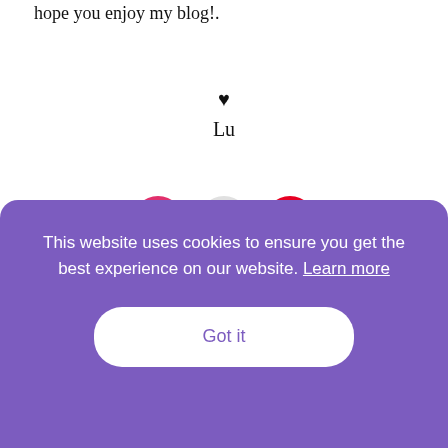hope you enjoy my blog!.
♥
Lu
[Figure (illustration): Three social media icon circles: Instagram (pink/red), Mail (light gray), Pinterest (red)]
AFFILIATE DISCLOSURE
Please note, some of these links are affiliate links, which means that if you click on one of the product links, I'll receive a small commission. This helps support the blog and allows me to continue to make free content. I
This website uses cookies to ensure you get the best experience on our website. Learn more
Got it